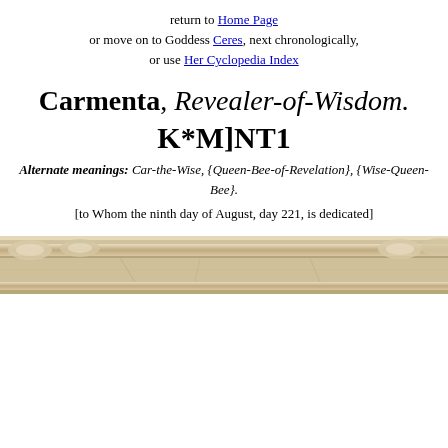return to Home Page or move on to Goddess Ceres, next chronologically, or use Her Cyclopedia Index
Carmenta, Revealer-of-Wisdom. K*M]NT1
Alternate meanings: Car-the-Wise, {Queen-Bee-of-Revelation}, {Wise-Queen-Bee}. [to Whom the ninth day of August, day 221, is dedicated]
[Figure (photo): Decorative architectural frieze or cornice showing carved stone details in beige/tan tones, cropped as a horizontal banner]